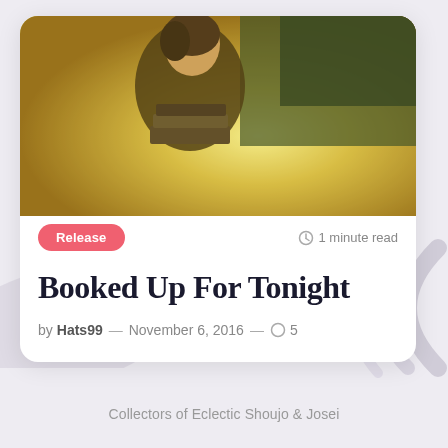[Figure (photo): Photo of a woman looking down at books, warm yellow-green outdoor background with trees]
Release
⊙ 1 minute read
Booked Up For Tonight
by Hats99 — November 6, 2016 — ○ 5
Collectors of Eclectic Shoujo & Josei